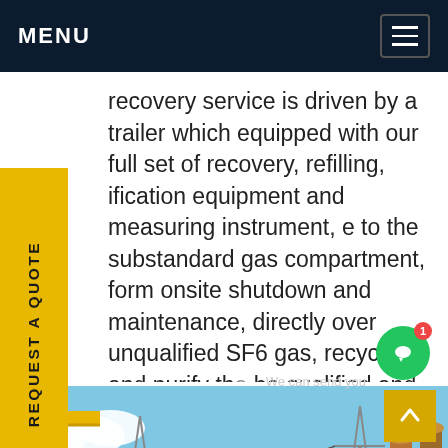MENU
recovery service is driven by a trailer which equipped with our full set of recovery, refilling, ification equipment and measuring instrument, e to the substandard gas compartment, form onsite shutdown and maintenance, directly over unqualified SF6 gas, recycle and purify the be qualified and then return to gas mpartmentGet price
[Figure (photo): Electrical substation with transmission towers, high-voltage equipment, and industrial infrastructure against a blue sky with yellow crane visible.]